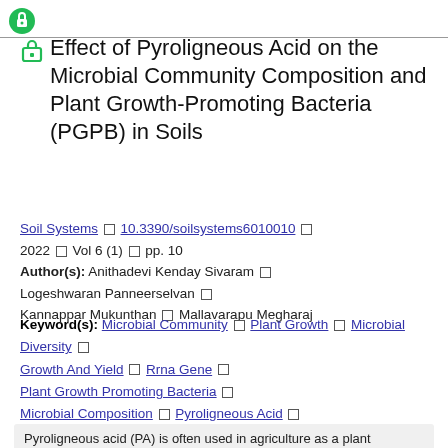Effect of Pyroligneous Acid on the Microbial Community Composition and Plant Growth-Promoting Bacteria (PGPB) in Soils
Soil Systems  □  10.3390/soilsystems6010010  □  2022  □  Vol 6 (1)  □  pp. 10
Author(s):  Anithadevi Kenday Sivaram  □  Logeshwaran Panneerselvan  □  Kannappar Mukunthan  □  Mallavarapu Megharaj
Keyword(s):  Microbial Community □  Plant Growth □  Microbial Diversity □  Growth And Yield □  Rrna Gene □  Plant Growth Promoting Bacteria □  Microbial Composition □  Pyroligneous Acid □  Plant Growth Promoting □  Growth Promoting
Pyroligneous acid (PA) is often used in agriculture as a plant